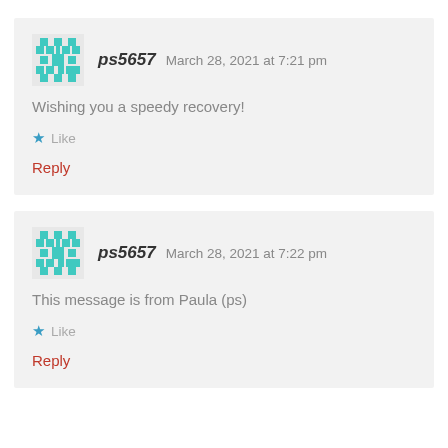ps5657   March 28, 2021 at 7:21 pm
Wishing you a speedy recovery!
Like
Reply
ps5657   March 28, 2021 at 7:22 pm
This message is from Paula (ps)
Like
Reply